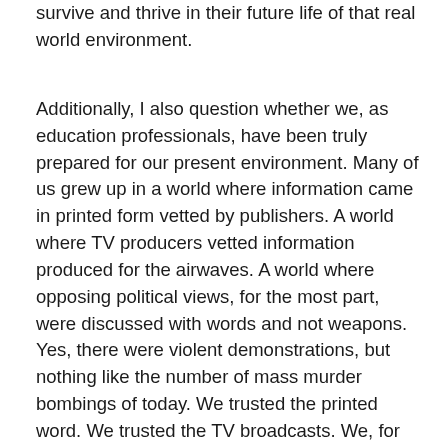survive and thrive in their future life of that real world environment.
Additionally, I also question whether we, as education professionals, have been truly prepared for our present environment. Many of us grew up in a world where information came in printed form vetted by publishers. A world where TV producers vetted information produced for the airwaves. A world where opposing political views, for the most part, were discussed with words and not weapons. Yes, there were violent demonstrations, but nothing like the number of mass murder bombings of today. We trusted the printed word. We trusted the TV broadcasts. We, for the most part, trusted our political leaders. We trusted our institutions. We believed in the “tried and true”. With that as a background in our education, we now live in a world where little of that holds